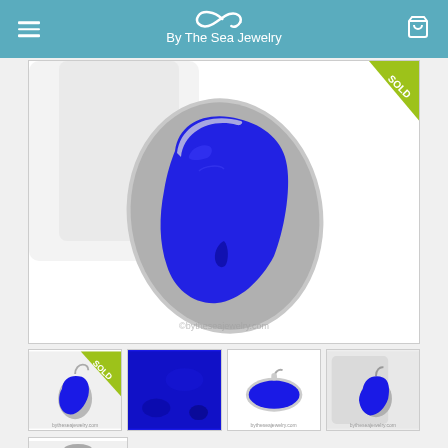By The Sea Jewelry
[Figure (photo): Close-up photo of a cobalt blue sea glass pendant in a silver bezel setting, shown from the front. The pendant features a large, irregular-shaped piece of vibrant royal blue sea glass. A green 'SOLD' corner banner is visible in the top right. Watermark reading '©bytheseajewelry.com' at the bottom.]
[Figure (photo): Thumbnail 1: Full pendant earring with cobalt blue sea glass in silver setting, with yellow-green SOLD banner overlay.]
[Figure (photo): Thumbnail 2: Close-up of cobalt blue sea glass texture.]
[Figure (photo): Thumbnail 3: Side/back view of the cobalt blue sea glass pendant in silver bezel.]
[Figure (photo): Thumbnail 4: Angled view of cobalt blue sea glass pendant earring in silver setting on display.]
[Figure (photo): Thumbnail 5 (bottom row, partial): Pendant on chain, partially visible.]